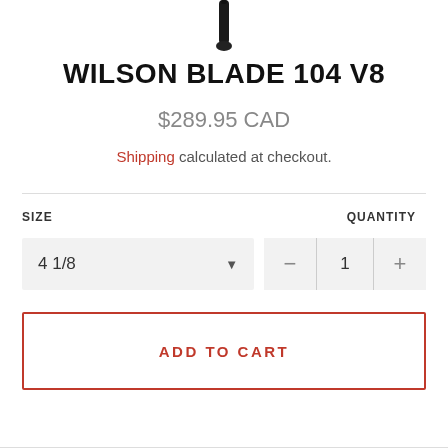[Figure (photo): Bottom portion of a Wilson tennis racket handle in dark color, shown vertically centered at top of page]
WILSON BLADE 104 V8
$289.95 CAD
Shipping calculated at checkout.
SIZE
QUANTITY
4 1/8
1
ADD TO CART